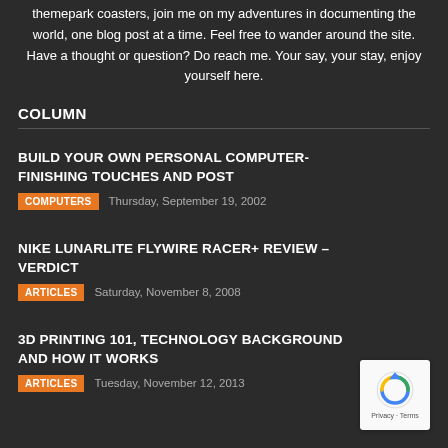themepark coasters, join me on my adventures in documenting the world, one blog post at a time. Feel free to wander around the site. Have a thought or question? Do reach me. Your say, your stay, enjoy yourself here.
COLUMN
BUILD YOUR OWN PERSONAL COMPUTER- FINISHING TOUCHES AND POST
COMPUTERS   Thursday, September 19, 2002
NIKE LUNARLITE FLYWIRE RACER+ REVIEW – VERDICT
ARTICLES   Saturday, November 8, 2008
3D PRINTING 101, TECHNOLOGY BACKGROUND AND HOW IT WORKS
ARTICLES   Tuesday, November 12, 2013
[Figure (logo): reCAPTCHA badge with circular arrow icon, Privacy and Terms links]